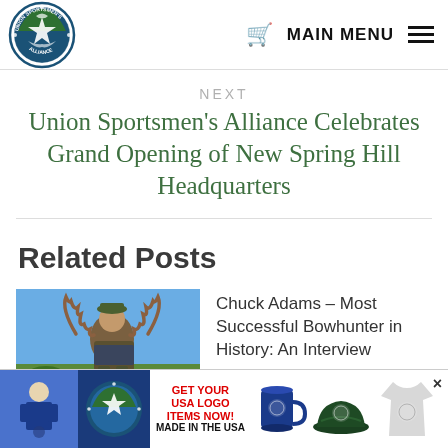[Figure (logo): Union Sportsmen's Alliance circular logo with bird and fish]
MAIN MENU
NEXT
Union Sportsmen's Alliance Celebrates Grand Opening of New Spring Hill Headquarters
Related Posts
Chuck Adams – Most Successful Bowhunter in History: An Interview
[Figure (photo): Man posing with large deer antlers outdoors]
[Figure (infographic): GET YOUR USA LOGO ITEMS NOW! MADE IN THE USA banner advertisement with mug, hat, and shirt products]